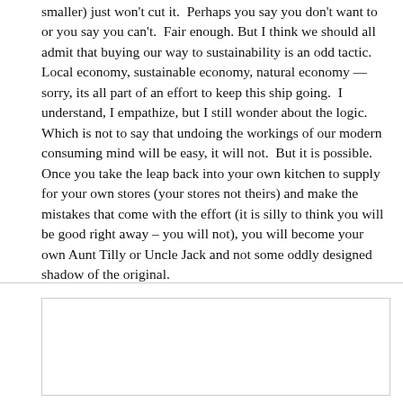smaller) just won't cut it.  Perhaps you say you don't want to or you say you can't.  Fair enough. But I think we should all admit that buying our way to sustainability is an odd tactic. Local economy, sustainable economy, natural economy — sorry, its all part of an effort to keep this ship going.  I understand, I empathize, but I still wonder about the logic. Which is not to say that undoing the workings of our modern consuming mind will be easy, it will not.  But it is possible.  Once you take the leap back into your own kitchen to supply for your own stores (your stores not theirs) and make the mistakes that come with the effort (it is silly to think you will be good right away – you will not), you will become your own Aunt Tilly or Uncle Jack and not some oddly designed shadow of the original.